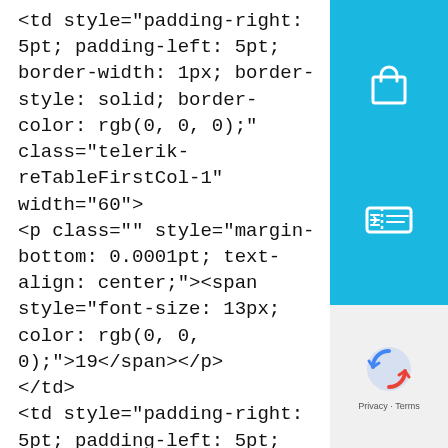<td style="padding-right: 5pt; padding-left: 5pt; border-width: 1px; border-style: solid; border-color: rgb(0, 0, 0);" class="telerik-reTableFirstCol-1" width="60">
<p class="" style="margin-bottom: 0.0001pt; text-align: center;"><span style="font-size: 13px; color: rgb(0, 0, 0);">19</span></p>
</td>
<td style="padding-right: 5pt; padding-left: 5pt; border-width: 1px; border-style: solid; border-color: rgb(0, 0, 0);" class="telerik-reTableOddCol-1" width="150">
<p class="" style="margin-bottom: 0.0001pt;"><span style="font-size: 13px; color: rgb(0, 0, 0);">Tessa JOPP</span></p>
[Figure (other): Sidebar with shopping bag icon and ticket/coupon icon on cyan/teal background, and a reCAPTCHA widget at the bottom]